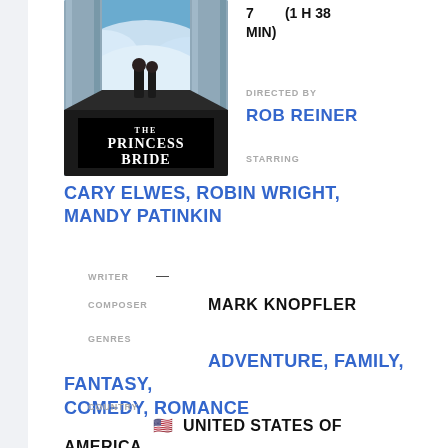[Figure (photo): The Princess Bride movie poster showing two figures standing between columns with clouds in background]
7    (1 H 38 MIN)
DIRECTED BY
ROB REINER
STARRING
CARY ELWES, ROBIN WRIGHT, MANDY PATINKIN
WRITER  —
COMPOSER  MARK KNOPFLER
GENRES  ADVENTURE, FAMILY, FANTASY, COMEDY, ROMANCE
COUNTRY  🇺🇸 UNITED STATES OF AMERICA